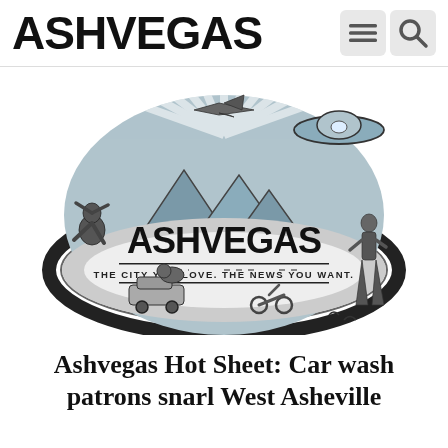ASHVEGAS
[Figure (logo): Ashvegas logo illustration: retro-style circular graphic with mountains, sunburst rays, bigfoot on left, woman in dress on right, UFO top right, airplane, vintage car, motorcycle, crow, and text 'ASHVEGAS — THE CITY YOU LOVE. THE NEWS YOU WANT.']
Ashvegas Hot Sheet: Car wash patrons snarl West Asheville